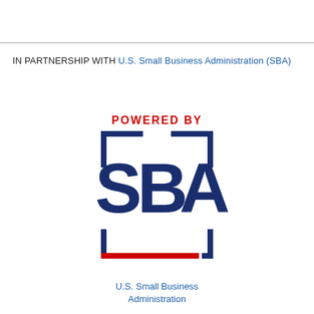IN PARTNERSHIP WITH U.S. Small Business Administration (SBA)
[Figure (logo): SBA 'Powered By' logo — dark navy blue bracket frame top-left and bottom-right corners, red horizontal bar bottom, bold navy 'SBA' letters in center, red 'POWERED BY' text above]
U.S. Small Business Administration